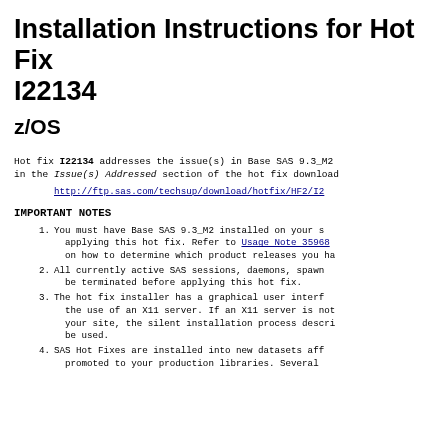Installation Instructions for Hot Fix I22134
z/OS
Hot fix I22134 addresses the issue(s) in Base SAS 9.3_M2 in the Issue(s) Addressed section of the hot fix download page:
http://ftp.sas.com/techsup/download/hotfix/HF2/I2...
IMPORTANT NOTES
1. You must have Base SAS 9.3_M2 installed on your system before applying this hot fix. Refer to Usage Note 35968 on how to determine which product releases you have installed.
2. All currently active SAS sessions, daemons, spawners must be terminated before applying this hot fix.
3. The hot fix installer has a graphical user interface that requires the use of an X11 server. If an X11 server is not available at your site, the silent installation process described below may be used.
4. SAS Hot Fixes are installed into new datasets after which they are promoted to your production libraries. Several...